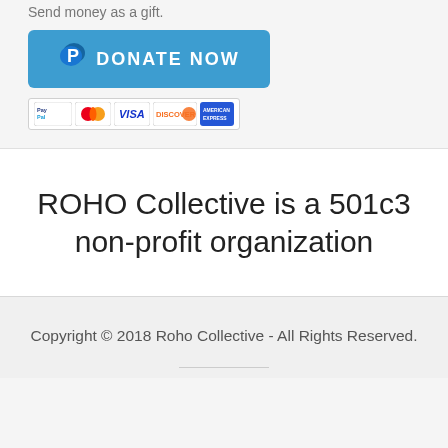Send money as a gift.
[Figure (other): Blue PayPal DONATE NOW button with PayPal P logo]
[Figure (other): Payment icons: PayPal, MasterCard, Visa, Discover, American Express]
ROHO Collective is a 501c3 non-profit organization
Copyright © 2018 Roho Collective - All Rights Reserved.